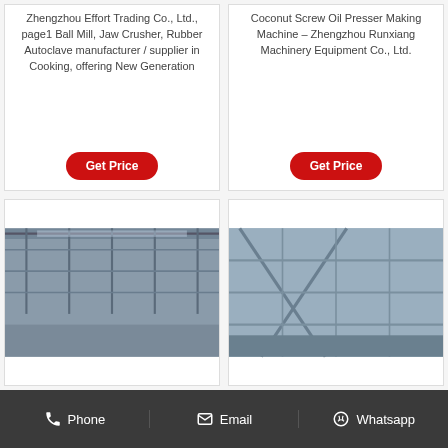Zhengzhou Effort Trading Co., Ltd., page1 Ball Mill, Jaw Crusher, Rubber Autoclave manufacturer / supplier in Cooking, offering New Generation
Get Price
Coconut Screw Oil Presser Making Machine – Zhengzhou Runxiang Machinery Equipment Co., Ltd.
Get Price
[Figure (photo): Industrial interior with steel structure ceiling and overhead equipment]
[Figure (photo): Industrial building exterior or interior with steel framework]
Phone   Email   Whatsapp